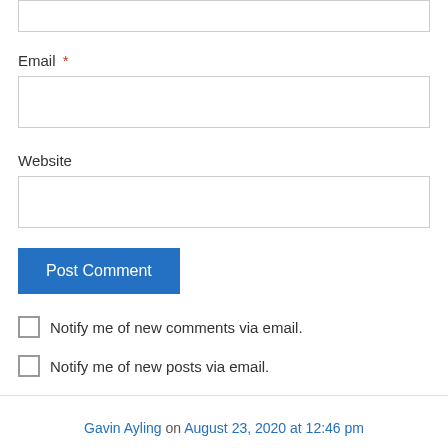Email *
Website
Post Comment
Notify me of new comments via email.
Notify me of new posts via email.
Gavin Ayling on August 23, 2020 at 12:46 pm